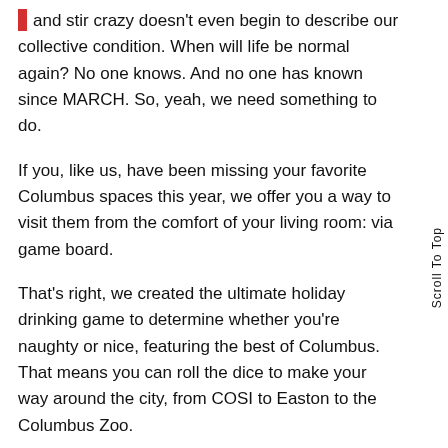and stir crazy doesn't even begin to describe our collective condition. When will life be normal again? No one knows. And no one has known since MARCH. So, yeah, we need something to do.
If you, like us, have been missing your favorite Columbus spaces this year, we offer you a way to visit them from the comfort of your living room: via game board.
That's right, we created the ultimate holiday drinking game to determine whether you're naughty or nice, featuring the best of Columbus. That means you can roll the dice to make your way around the city, from COSI to Easton to the Columbus Zoo.
Everyone starts on High Street, and every player takes